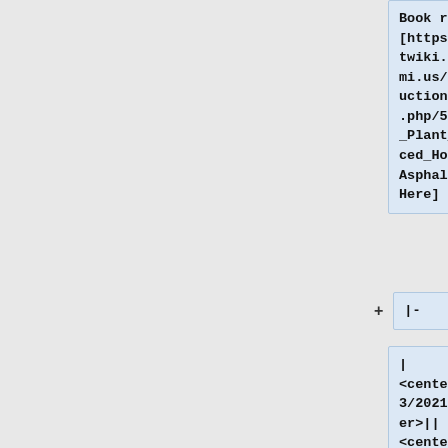Book reference||[https://mdotwiki.state.mi.us/construction/index.php/501_-_Plant_Produced_Hot_Mix_Asphalt View Here]
|-
| <center>12/13/2021</center>|| <center>1 Supplemental</center>|| <center>